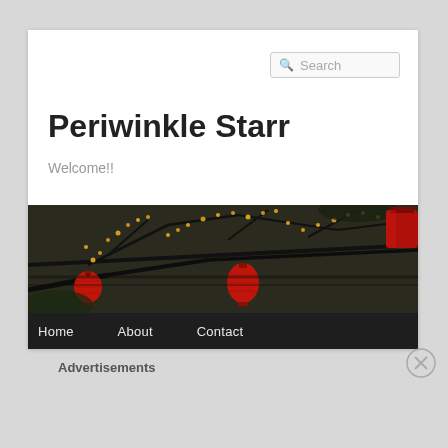Periwinkle Starr
Welcome!!
[Figure (photo): Hero banner photograph of tree branches with small yellow flowers and red Chinese lanterns hanging from branches, dark background]
Home
About
Contact
Advertisements